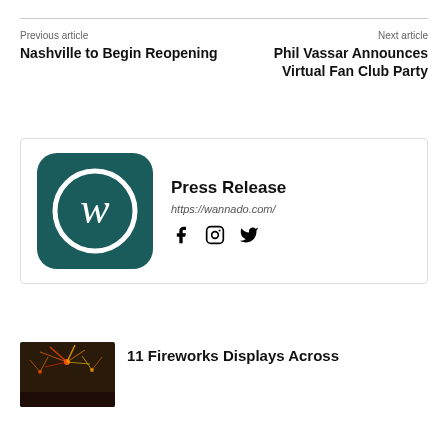Previous article
Nashville to Begin Reopening
Next article
Phil Vassar Announces Virtual Fan Club Party
[Figure (logo): Wannado app logo: dark teal rounded square with a white stylized 'w' inside a white circle]
Press Release
https://wannado.com/
[Figure (other): Social media icons: Facebook, Instagram, Twitter]
RELATED ARTICLES
[Figure (photo): Fireworks display photo thumbnail]
11 Fireworks Displays Across